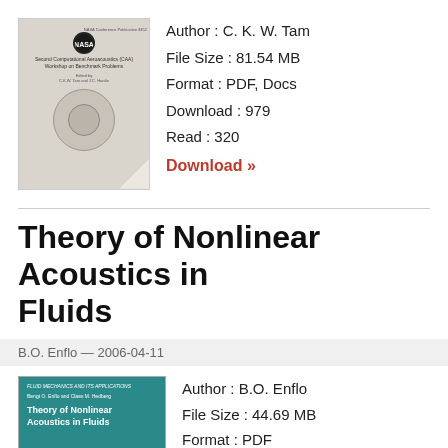[Figure (photo): Book cover of NASA conference publication - Second Computational Aeroacoustics (CAA) Workshop on Benchmark Problems]
Author : C. K. W. Tam
File Size : 81.54 MB
Format : PDF, Docs
Download : 979
Read : 320
Download »
Theory of Nonlinear Acoustics in Fluids
B.O. Enflo — 2006-04-11
[Figure (photo): Book cover of Theory of Nonlinear Acoustics in Fluids - teal/green cover]
Author : B.O. Enflo
File Size : 44.69 MB
Format : PDF